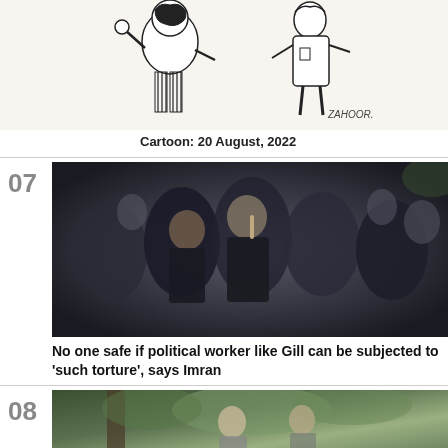[Figure (illustration): Black and white editorial cartoon by Zafoor dated 20 August 2022, showing two caricatured figures]
Cartoon: 20 August, 2022
07
[Figure (photo): Photo of Imran Khan in black clothing surrounded by supporters, raising one finger]
No one safe if political worker like Gill can be subjected to 'such torture', says Imran
08
[Figure (photo): Partial photo of people outdoors with green foliage background]